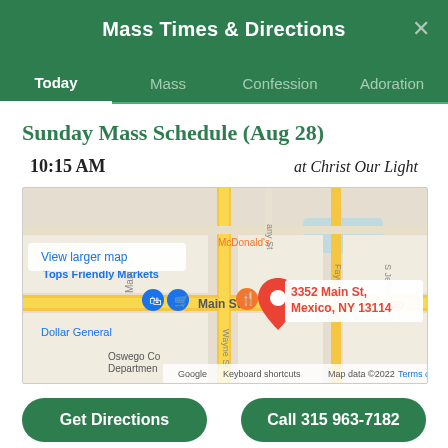Mass Times & Directions
Today  Mass  Confession  Adoration
Sunday Mass Schedule (Aug 28)
10:15 AM    at Christ Our Light
[Figure (map): Google Maps embed showing 3352 Main St, Mexico, NY 13114 with surrounding streets and landmarks including McDonald's, Tops Friendly Markets, Dollar General, and Oswego County Department. Map data ©2022.]
Get Directions
Call 315 963-7182